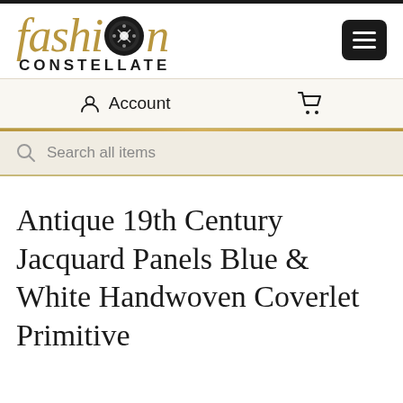[Figure (logo): Fashion Constellate logo with decorative button replacing the 'o' in fashion, gold/tan italic serif font for 'fashion' and bold uppercase sans-serif for 'CONSTELLATE']
[Figure (other): Hamburger menu button - dark square with three horizontal white lines]
Account
Cart icon
Search all items
Antique 19th Century Jacquard Panels Blue & White Handwoven Coverlet Primitive